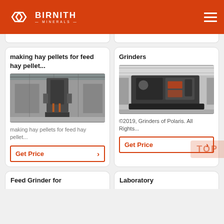BIRNITH MINERALS
making hay pellets for feed hay pellet...
[Figure (photo): Industrial pellet mill machinery inside a large factory floor with metal framework and equipment]
making hay pellets for feed hay pellet...
Get Price
Grinders
[Figure (photo): Large industrial grinder machine in a factory showroom with machinery and equipment in the background]
©2019, Grinders of Polaris. All Rights...
Get Price
Feed Grinder for
Laboratory